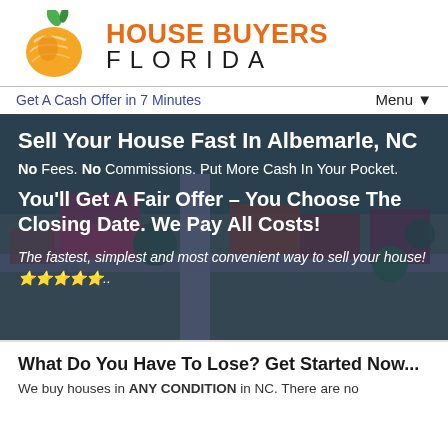[Figure (logo): House Buyers Florida logo with orange peach/fruit icon and company name]
Get A Cash Offer in 7 Minutes
Menu ▼
[Figure (photo): Aerial view of a house/neighborhood used as hero background image]
Sell Your House Fast In Albemarle, NC
No Fees. No Commissions. Put More Cash In Your Pocket.
You'll Get A Fair Offer – You Choose The Closing Date. We Pay All Costs!
The fastest, simplest and most convenient way to sell your house! ⭐⭐⭐⭐⭐..
What Do You Have To Lose? Get Started Now...
We buy houses in ANY CONDITION in NC. There are no